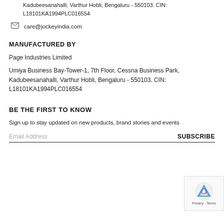Umiya Business Bay-Tower-1, 7th Floor, Cessna Business Park, Kadubeesanahalli, Varthur Hobli, Bengaluru - 550103. CIN: L18101KA1994PLC016554
care@jockeyindia.com
MANUFACTURED BY
Page Industries Limited
Umiya Business Bay-Tower-1, 7th Floor, Cessna Business Park, Kadubeesanahalli, Varthur Hobli, Bengaluru - 550103. CIN: L18101KA1994PLC016554
BE THE FIRST TO KNOW
Sign up to stay updated on new products, brand stories and events
Email Address  SUBSCRIBE